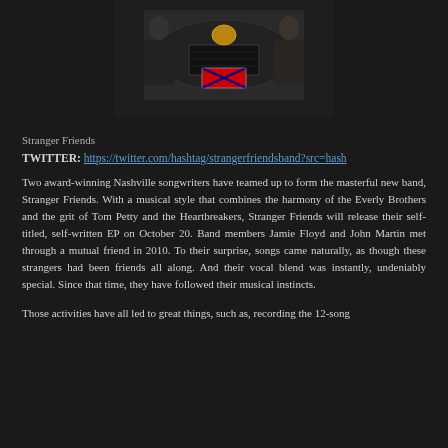[Figure (photo): Two people posing with a car, one on each side of the front grille. The car appears to be a classic muscle car with a Confederate flag license plate. Dark background.]
Stranger Friends
TWITTER: https://twitter.com/hashtag/strangerfriendsband?src=hash
Two award-winning Nashville songwriters have teamed up to form the masterful new band, Stranger Friends. With a musical style that combines the harmony of the Everly Brothers and the grit of Tom Petty and the Heartbreakers, Stranger Friends will release their self-titled, self-written EP on October 20. Band members Jamie Floyd and John Martin met through a mutual friend in 2010. To their surprise, songs came naturally, as though these strangers had been friends all along. And their vocal blend was instantly, undeniably special. Since that time, they have followed their musical instincts.
Those activities have all led to great things, such as, recording the 12-song